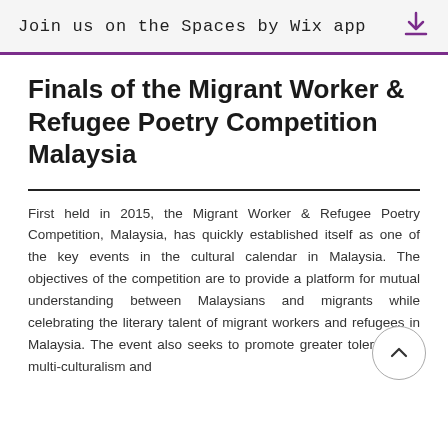Join us on the Spaces by Wix app
Finals of the Migrant Worker & Refugee Poetry Competition Malaysia
First held in 2015, the Migrant Worker & Refugee Poetry Competition, Malaysia, has quickly established itself as one of the key events in the cultural calendar in Malaysia. The objectives of the competition are to provide a platform for mutual understanding between Malaysians and migrants while celebrating the literary talent of migrant workers and refugees in Malaysia. The event also seeks to promote greater tolerance of multi-culturalism and